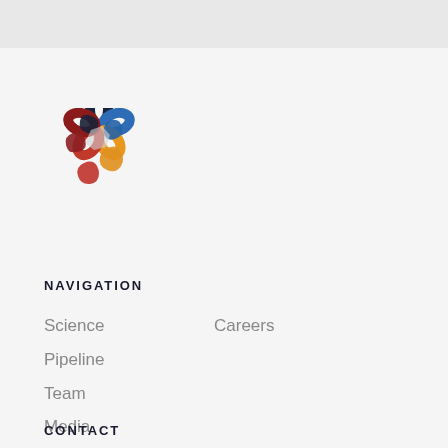[Figure (logo): Remedy Plan logo: a circular arrangement of colorful interconnected chain-link shapes in navy, red, blue, orange, and red colors forming a hexagonal ring]
NAVIGATION
Science
Careers
Pipeline
Team
Media
CONTACT
To get in touch, email us at info@remedyplan.com.